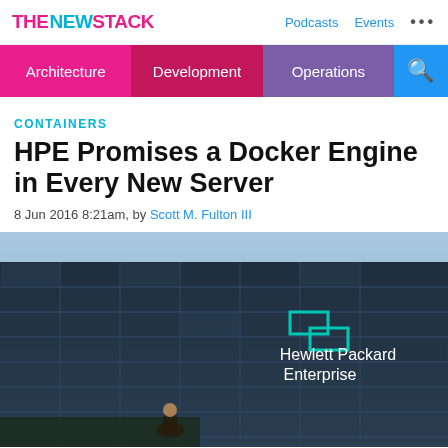THE NEW STACK  Podcasts  Events  ...
Architecture  Development  Operations
CONTAINERS
HPE Promises a Docker Engine in Every New Server
8 Jun 2016 8:21am, by Scott M. Fulton III
[Figure (photo): Exterior of Hewlett Packard Enterprise building with glass facade and HPE logo. A person is visible speaking at the bottom of the frame.]